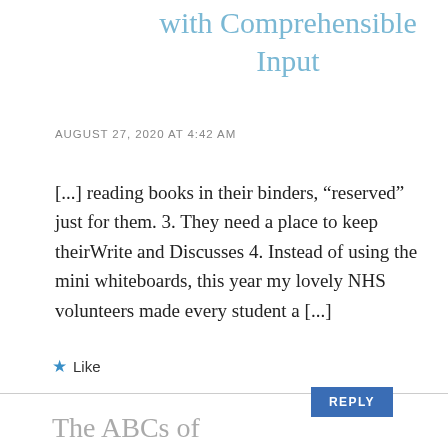with Comprehensible Input
AUGUST 27, 2020 AT 4:42 AM
[...] reading books in their binders, “reserved” just for them. 3. They need a place to keep theirWrite and Discusses 4. Instead of using the mini whiteboards, this year my lovely NHS volunteers made every student a [...]
★ Like
REPLY
The ABCs of